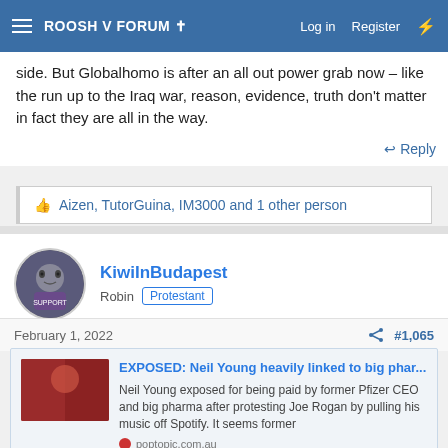ROOSH V FORUM ✝  Log in  Register
side. But Globalhomo is after an all out power grab now – like the run up to the Iraq war, reason, evidence, truth don't matter in fact they are all in the way.
↩ Reply
👍 Aizen, TutorGuina, IM3000 and 1 other person
KiwiInBudapest
Robin  Protestant
February 1, 2022  #1,065
EXPOSED: Neil Young heavily linked to big phar...
Neil Young exposed for being paid by former Pfizer CEO and big pharma after protesting Joe Rogan by pulling his music off Spotify. It seems former
poptopic.com.au